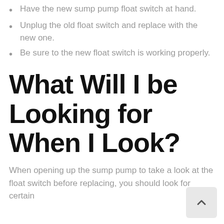Turn off air power to the area.
Have the new sump pump float switch at hand.
Unplug the old float switch and replace with the new one.
Be sure to the new float switch is working properly.
What Will I be Looking for When I Look?
When opening up the sump pump to take a look at the float switch before replacing, you should look for certain